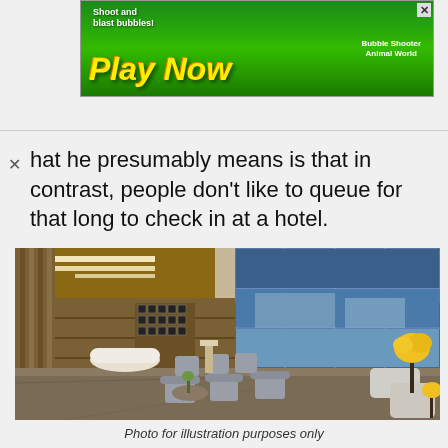[Figure (screenshot): Mobile game advertisement banner with green background showing 'Play Now' text in yellow, 'Shoot and blast bubbles!' tagline, cartoon characters, and 'Bubble Shooter Animal World' branding]
hat he presumably means is that in contrast, people don't like to queue for that long to check in at a hotel.
[Figure (photo): Modern hotel lobby interior with high ceilings, wooden panel walls, large glass windows showing blue exterior, marble floors, grey upholstered armchairs and seating arrangements, decorative yellow flower arrangements, and a white reception desk area with portrait wall art]
Photo for illustration purposes only